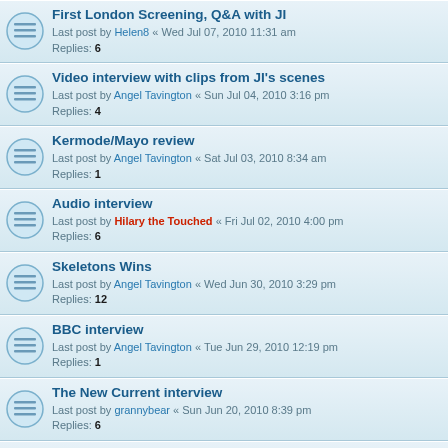First London Screening, Q&A with JI
Last post by Helen8 « Wed Jul 07, 2010 11:31 am
Replies: 6
Video interview with clips from JI's scenes
Last post by Angel Tavington « Sun Jul 04, 2010 3:16 pm
Replies: 4
Kermode/Mayo review
Last post by Angel Tavington « Sat Jul 03, 2010 8:34 am
Replies: 1
Audio interview
Last post by Hilary the Touched « Fri Jul 02, 2010 4:00 pm
Replies: 6
Skeletons Wins
Last post by Angel Tavington « Wed Jun 30, 2010 3:29 pm
Replies: 12
BBC interview
Last post by Angel Tavington « Tue Jun 29, 2010 12:19 pm
Replies: 1
The New Current interview
Last post by grannybear « Sun Jun 20, 2010 8:39 pm
Replies: 6
great review with JI pic
Last post by marilaine « Thu Jun 17, 2010 11:00 am
Replies: 2
Festival Listings, Skeletons
Last post by Angel Tavington « Thu Jun 17, 2010 7:30 am
Replies: 1
Jason joins cast of Skeletons...